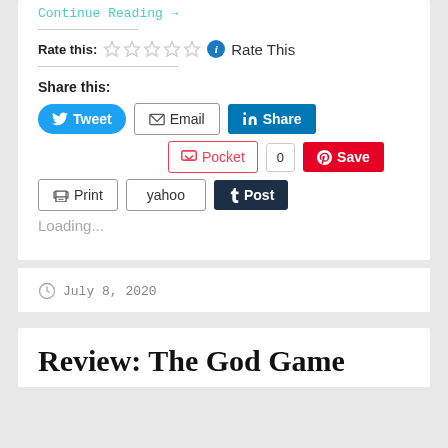Continue Reading →
Rate this: ☆☆☆☆☆ ℹ Rate This
Share this:
Tweet  Email  Share
Pocket  0  Save
Print  yahoo  Post
Loading...
July 8, 2020
Review: The God Game